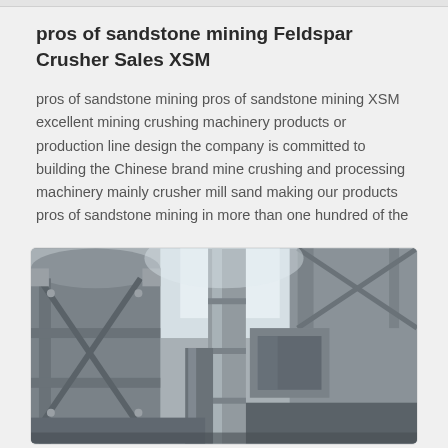pros of sandstone mining Feldspar Crusher Sales XSM
pros of sandstone mining pros of sandstone mining XSM excellent mining crushing machinery products or production line design the company is committed to building the Chinese brand mine crushing and processing machinery mainly crusher mill sand making our products pros of sandstone mining in more than one hundred of the
[Figure (photo): Industrial mining/crushing machinery equipment in grayscale — large metal silos, cylindrical pipes, structural steel framework, and processing equipment viewed from below in an industrial facility.]